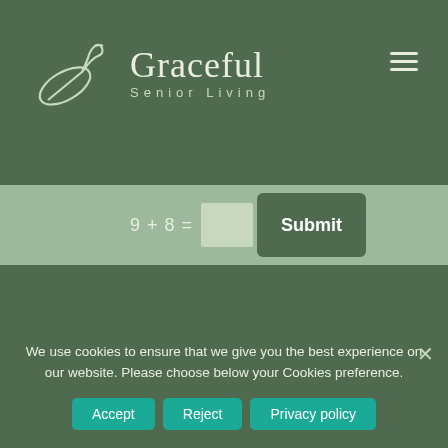[Figure (logo): Graceful Senior Living logo with swan/leaf icon on dark green background]
9 + 8 =
Submit
[Figure (logo): Graceful Senior Living swan/leaf icon in lower green section]
Graceful (partial, cut off)
We use cookies to ensure that we give you the best experience on our website. Please choose below your Cookies preference.
Accept
Reject
Privacy policy